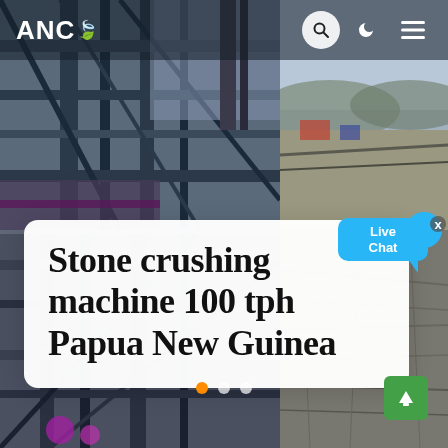[Figure (screenshot): Website screenshot showing a news/article page for a stone crushing machine. Background shows a collage of industrial machinery photos (top-left: steel structure/conveyors, top-right: open landscape with machinery, bottom-left: industrial conveyor frames, bottom-right: dirt/gravel terrain). Header bar with ANC logo and nav icons. White card overlay with article title. Live Chat bubble widget. Slide indicator dots and green scroll-to-top button.]
ANC
Stone crushing machine 100 tph Papua New Guinea